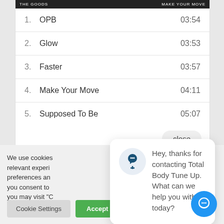[Figure (screenshot): Album header bar with 'THE GOODS' and 'MAKE YOUR MOVE' text on dark background]
1.  OPB    03:54
2.  Glow    03:53
3.  Faster    03:57
4.  Make Your Move    04:11
5.  Supposed To Be    05:07
close
We use cookies relevant experi preferences an you consent to you may visit "C consent.
Hey, thanks for contacting Total Body Tune Up. What can we help you with today?
Cookie Settings
Accept All